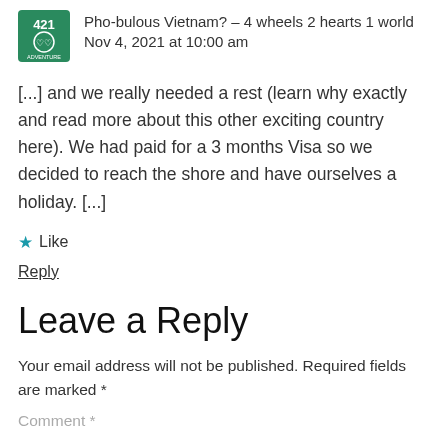Pho-bulous Vietnam? – 4 wheels 2 hearts 1 world
Nov 4, 2021 at 10:00 am
[...] and we really needed a rest (learn why exactly and read more about this other exciting country here). We had paid for a 3 months Visa so we decided to reach the shore and have ourselves a holiday. [...]
★ Like
Reply
Leave a Reply
Your email address will not be published. Required fields are marked *
Comment *